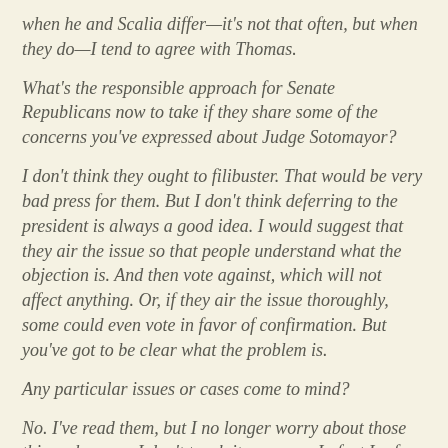when he and Scalia differ—it's not that often, but when they do—I tend to agree with Thomas.
What's the responsible approach for Senate Republicans now to take if they share some of the concerns you've expressed about Judge Sotomayor?
I don't think they ought to filibuster. That would be very bad press for them. But I don't think deferring to the president is always a good idea. I would suggest that they air the issue so that people understand what the objection is. And then vote against, which will not affect anything. Or, if they air the issue thoroughly, some could even vote in favor of confirmation. But you've got to be clear what the problem is.
Any particular issues or cases come to mind?
No. I've read them, but I no longer worry about those things, because I don't teach it anymore. In fact I refuse to teach constitutional law, because it's so obviously politics and not law. The incoherence of some of those opinions is astounding. If you want to know what the constitution says, you'll not learn it from the court.